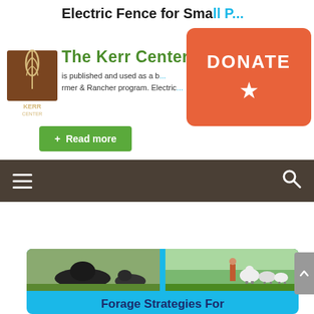Electric Fence for Small Ruminants
[Figure (logo): Kerr Center for Sustainable Agriculture logo — brown square with wheat/leaf graphic and KERR CENTER text]
The Kerr Center
is published and used as a b... rmer & Rancher program. Electric ...
[Figure (other): Orange donate button with star icon]
+ Read more
[Figure (other): Dark brown navigation bar with hamburger menu icon on the left and search icon on the right]
[Figure (other): Forage Strategies For card with two photos of cattle and sheep on cyan/teal background]
Forage Strategies For